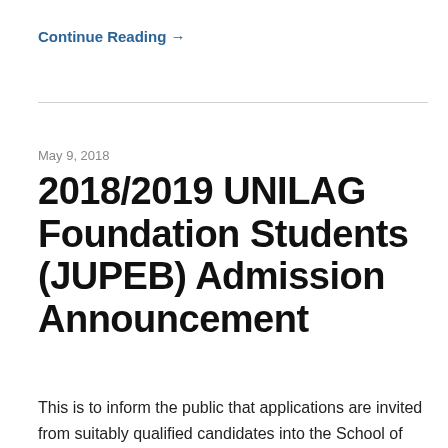Continue Reading →
2018/2019 UNILAG Foundation Students (JUPEB) Admission Announcement
May 9, 2018
This is to inform the public that applications are invited from suitably qualified candidates into the School of